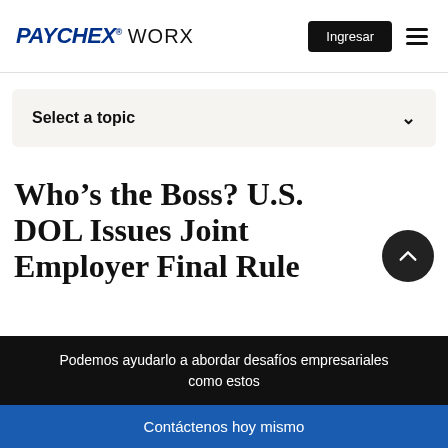PAYCHEX WORX — Navigation with Ingresar button and hamburger menu
Select a topic
Who’s the Boss? U.S. DOL Issues Joint Employer Final Rule
Podemos ayudarlo a abordar desafíos empresariales como estos
Contáctenos hoy mismo